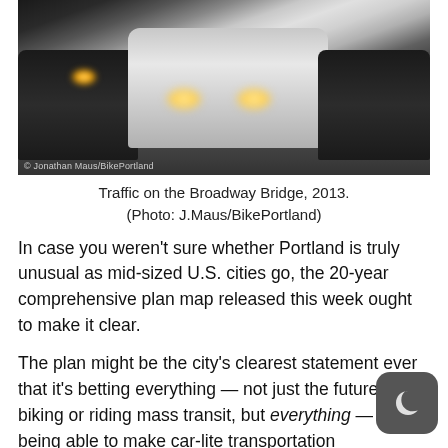[Figure (photo): Traffic on the Broadway Bridge showing multiple cars with headlights on, including a white car in the center, dark cars on left and right, photographed from front]
Traffic on the Broadway Bridge, 2013.
(Photo: J.Maus/BikePortland)
In case you weren't sure whether Portland is truly unusual as mid-sized U.S. cities go, the 20-year comprehensive plan map released this week ought to make it clear.
The plan might be the city's clearest statement ever that it's betting everything — not just the future of biking or riding mass transit, but everything — on being able to make car-lite transportation dramatically more attractive than it